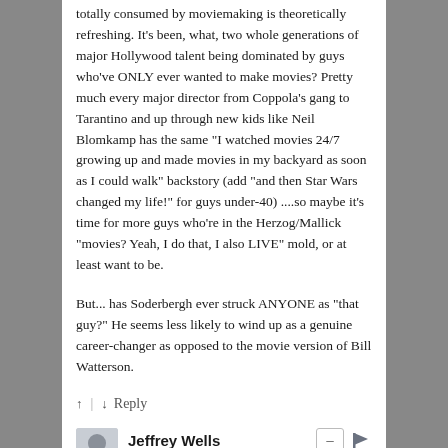totally consumed by moviemaking is theoretically refreshing. It's been, what, two whole generations of major Hollywood talent being dominated by guys who've ONLY ever wanted to make movies? Pretty much every major director from Coppola's gang to Tarantino and up through new kids like Neil Blomkamp has the same "I watched movies 24/7 growing up and made movies in my backyard as soon as I could walk" backstory (add "and then Star Wars changed my life!" for guys under-40) ....so maybe it's time for more guys who're in the Herzog/Mallick "movies? Yeah, I do that, I also LIVE" mold, or at least want to be.
But... has Soderbergh ever struck ANYONE as "that guy?" He seems less likely to wind up as a genuine career-changer as opposed to the movie version of Bill Watterson.
↑ | ↓   Reply
Jeffrey Wells
12 years ago